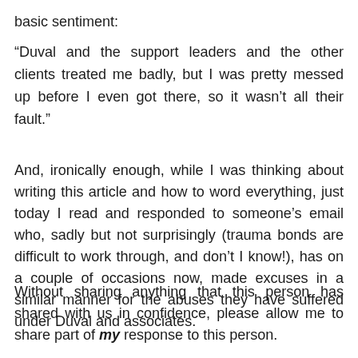basic sentiment:
“Duval and the support leaders and the other clients treated me badly, but I was pretty messed up before I even got there, so it wasn’t all their fault.”
And, ironically enough, while I was thinking about writing this article and how to word everything, just today I read and responded to someone’s email who, sadly but not surprisingly (trauma bonds are difficult to work through, and don’t I know!), has on a couple of occasions now, made excuses in a similar manner for the abuses they have suffered under Duval and associates.
Without sharing anything that this person has shared with us in confidence, please allow me to share part of my response to this person.